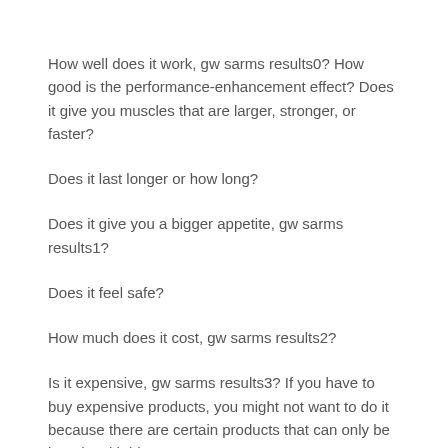How well does it work, gw sarms results0? How good is the performance-enhancement effect? Does it give you muscles that are larger, stronger, or faster?
Does it last longer or how long?
Does it give you a bigger appetite, gw sarms results1?
Does it feel safe?
How much does it cost, gw sarms results2?
Is it expensive, gw sarms results3? If you have to buy expensive products, you might not want to do it because there are certain products that can only be bought with big money.